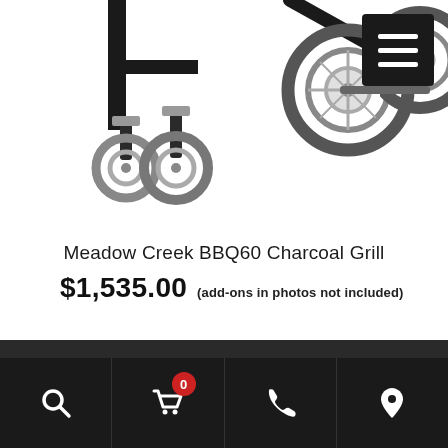[Figure (photo): Close-up photo of the bottom of two Meadow Creek BBQ60 Charcoal Grills showing wheels and frame components against a white background. A dark menu icon button is in the top-right corner.]
Meadow Creek BBQ60 Charcoal Grill
$1,535.00 (add-ons in photos not included)
Navigation bar with search, cart (0), phone, and location icons